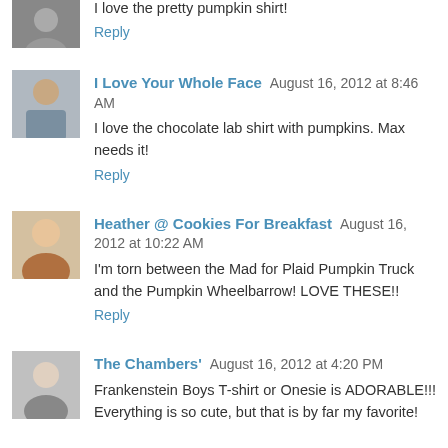[Figure (photo): Avatar thumbnail of commenter, partially cropped at top of page]
I love the pretty pumpkin shirt!
Reply
[Figure (photo): Avatar thumbnail of I Love Your Whole Face commenter]
I Love Your Whole Face  August 16, 2012 at 8:46 AM
I love the chocolate lab shirt with pumpkins. Max needs it!
Reply
[Figure (photo): Avatar thumbnail of Heather @ Cookies For Breakfast commenter]
Heather @ Cookies For Breakfast  August 16, 2012 at 10:22 AM
I'm torn between the Mad for Plaid Pumpkin Truck and the Pumpkin Wheelbarrow! LOVE THESE!!
Reply
[Figure (photo): Avatar thumbnail of The Chambers' commenter]
The Chambers'  August 16, 2012 at 4:20 PM
Frankenstein Boys T-shirt or Onesie is ADORABLE!!! Everything is so cute, but that is by far my favorite!